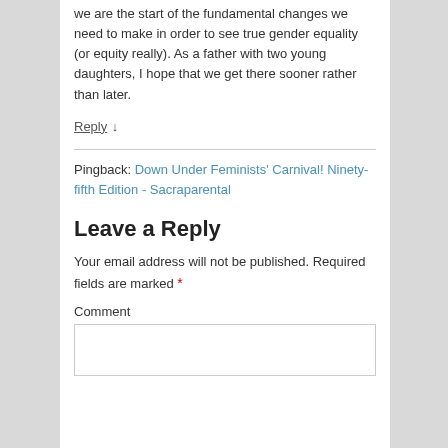we are the start of the fundamental changes we need to make in order to see true gender equality (or equity really). As a father with two young daughters, I hope that we get there sooner rather than later.
Reply ↓
Pingback: Down Under Feminists' Carnival! Ninety-fifth Edition - Sacraparental
Leave a Reply
Your email address will not be published. Required fields are marked *
Comment